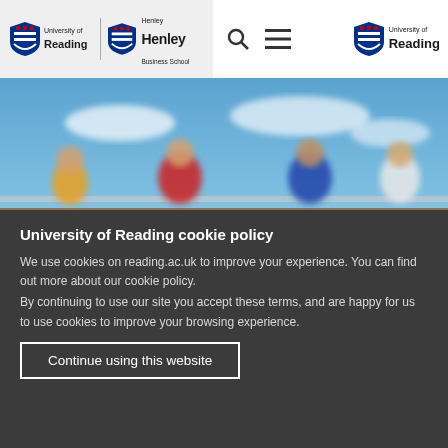University of Reading | Henley Business School
[Figure (photo): Blurred photo of foosball/table football players in colourful jerseys against a blue sky background]
University of Reading cookie policy
We use cookies on reading.ac.uk to improve your experience. You can find out more about our cookie policy.
By continuing to use our site you accept these terms, and are happy for us to use cookies to improve your browsing experience.
Continue using this website